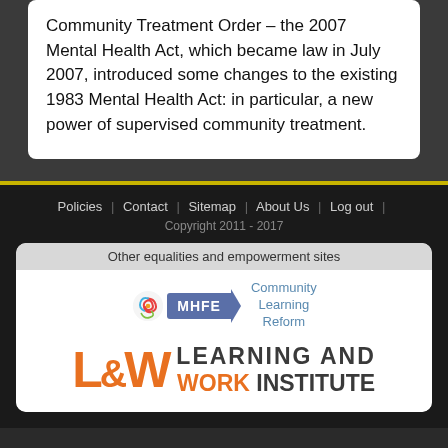Community Treatment Order — the 2007 Mental Health Act, which became law in July 2007, introduced some changes to the existing 1983 Mental Health Act: in particular, a new power of supervised community treatment.
Policies | Contact | Sitemap | About Us | Log out
Copyright 2011 - 2017
Other equalities and empowerment sites
[Figure (logo): MHFE logo with spiral icon and blue badge, alongside Community Learning Reform text]
[Figure (logo): L&W Learning and Work Institute logo in orange and dark grey]